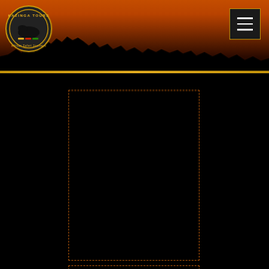[Figure (photo): Safari sunset header image with orange and brown sky, tree silhouettes at the bottom, and a circular Kazinga Tours logo on the left. A dark hamburger menu button is in the top-right corner.]
[Figure (other): Dark rectangular placeholder area with dashed orange border, appearing to be a map or image embed area.]
Office UK
+44 1837 55 907